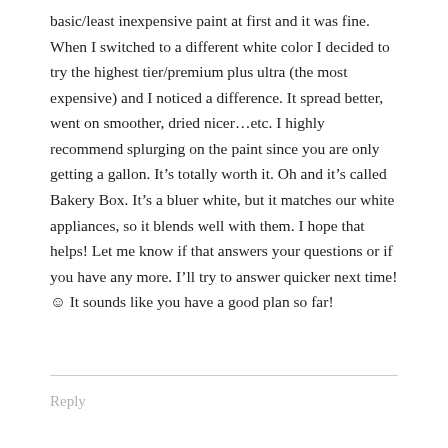basic/least inexpensive paint at first and it was fine. When I switched to a different white color I decided to try the highest tier/premium plus ultra (the most expensive) and I noticed a difference. It spread better, went on smoother, dried nicer...etc. I highly recommend splurging on the paint since you are only getting a gallon. It's totally worth it. Oh and it's called Bakery Box. It's a bluer white, but it matches our white appliances, so it blends well with them. I hope that helps! Let me know if that answers your questions or if you have any more. I'll try to answer quicker next time! ☺ It sounds like you have a good plan so far!
Reply